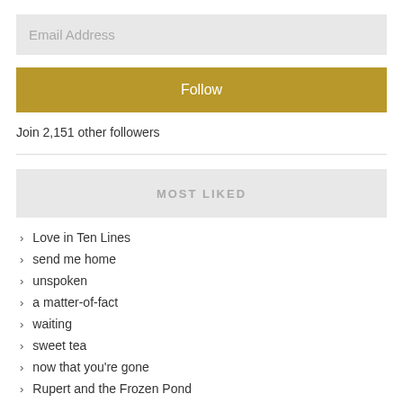Email Address
Follow
Join 2,151 other followers
MOST LIKED
Love in Ten Lines
send me home
unspoken
a matter-of-fact
waiting
sweet tea
now that you're gone
Rupert and the Frozen Pond